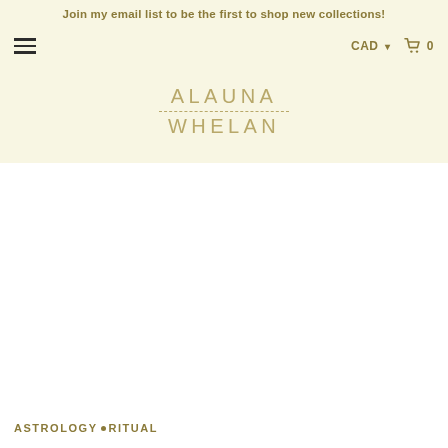Join my email list to be the first to shop new collections!
CAD ▾  🛒 0
ALAUNA
WHELAN
ASTROLOGY• RITUAL